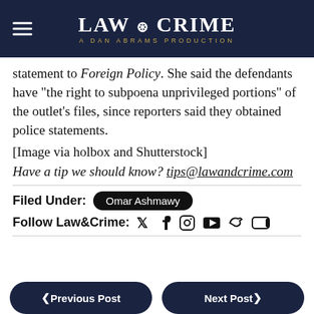LAW & CRIME — A DAN ABRAMS PRODUCTION
statement to Foreign Policy. She said the defendants have “the right to subpoena unprivileged portions” of the outlet’s files, since reporters said they obtained police statements.
[Image via holbox and Shutterstock]
Have a tip we should know? tips@lawandcrime.com
Filed Under: Omar Ashmawy
Follow Law&Crime:
Previous Post | Next Post